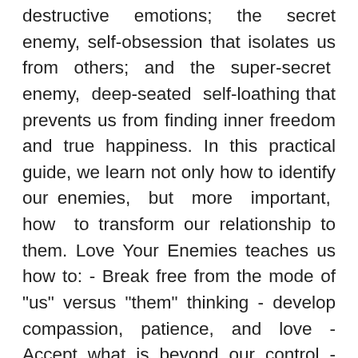destructive emotions; the secret enemy, self-obsession that isolates us from others; and the super-secret enemy, deep-seated self-loathing that prevents us from finding inner freedom and true happiness. In this practical guide, we learn not only how to identify our enemies, but more important, how to transform our relationship to them. Love Your Enemies teaches us how to: - Break free from the mode of "us" versus "them" thinking - develop compassion, patience, and love - Accept what is beyond our control - Embrace lovingkindness, right speech, and other core concepts Throughout, authors Sharon Salzberg and Robert Thurman share stories and exercises for achieving finding peace with ourselves and with the world. Each